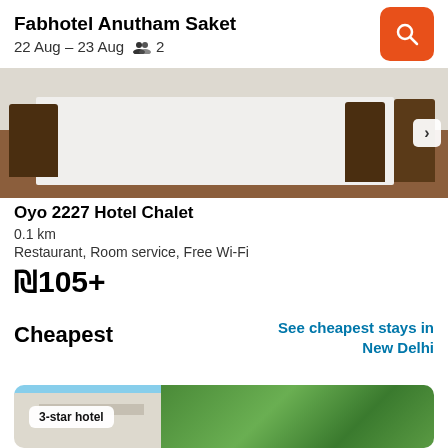Fabhotel Anutham Saket | 22 Aug – 23 Aug | 2 guests
[Figure (photo): Interior photo of a hotel dining room with white tablecloth and wooden chairs on a wooden floor]
Oyo 2227 Hotel Chalet
0.1 km
Restaurant, Room service, Free Wi-Fi
₪105+
Cheapest
See cheapest stays in New Delhi
[Figure (photo): Exterior photo of a 3-star hotel building with trees and blue sky, badge reads '3-star hotel']